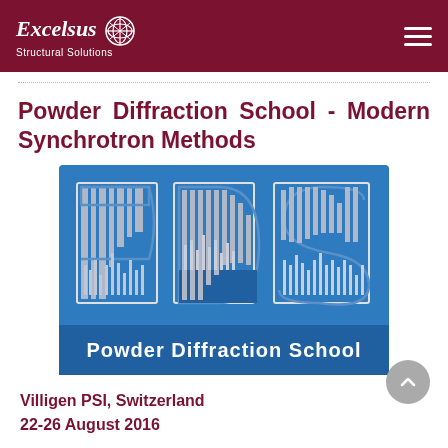Excelsus Structural Solutions
Powder Diffraction School - Modern Synchrotron Methods
[Figure (logo): Powder Diffraction School logo: blue background with large stylized letters PDS formed by vertical bar patterns resembling diffraction peaks, with text 'Powder Diffraction School' below in white]
Villigen PSI, Switzerland
22-26 August 2016